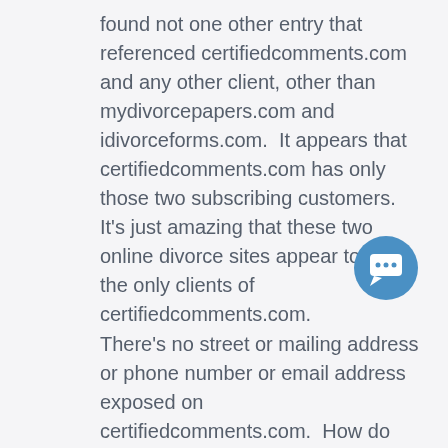found not one other entry that referenced certifiedcomments.com and any other client, other than mydivorcepapers.com and idivorceforms.com.  It appears that certifiedcomments.com has only those two subscribing customers.  It's just amazing that these two online divorce sites appear to be the only clients of certifiedcomments.com.
There's no street or mailing address or phone number or email address exposed on certifiedcomments.com.  How do